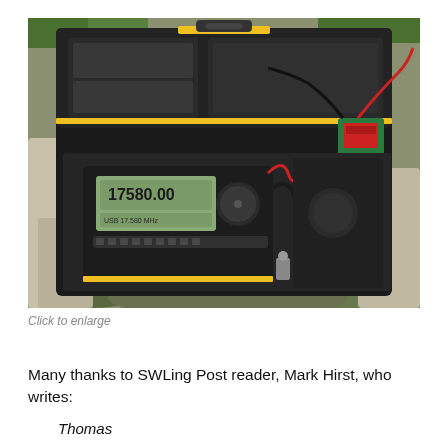[Figure (photo): A portable ham radio transceiver (displaying 17580.00 frequency) inside an open black plastic tool/equipment case, sitting on rocky ground outdoors. A green battery pack and cables are visible inside the case.]
Click to enlarge
Many thanks to SWLing Post reader, Mark Hirst, who writes:
Thomas